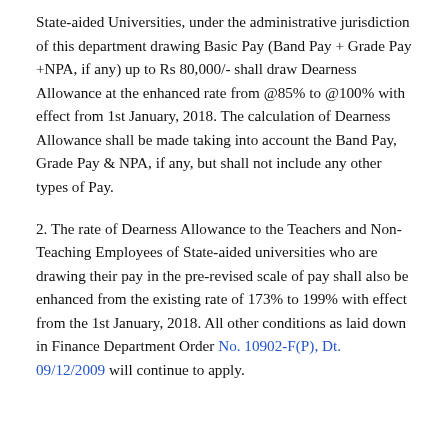State-aided Universities, under the administrative jurisdiction of this department drawing Basic Pay (Band Pay + Grade Pay +NPA, if any) up to Rs 80,000/- shall draw Dearness Allowance at the enhanced rate from @85% to @100% with effect from 1st January, 2018. The calculation of Dearness Allowance shall be made taking into account the Band Pay, Grade Pay & NPA, if any, but shall not include any other types of Pay.
2. The rate of Dearness Allowance to the Teachers and Non-Teaching Employees of State-aided universities who are drawing their pay in the pre-revised scale of pay shall also be enhanced from the existing rate of 173% to 199% with effect from the 1st January, 2018. All other conditions as laid down in Finance Department Order No. 10902-F(P), Dt. 09/12/2009 will continue to apply.